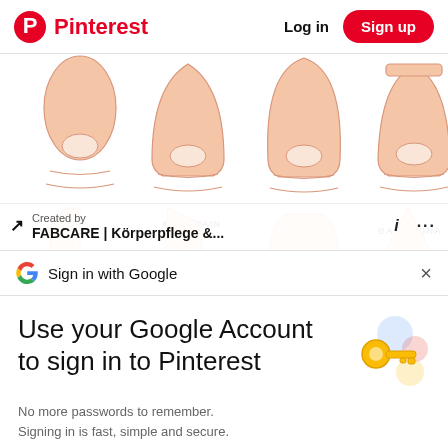Pinterest  Log in  Sign up
[Figure (illustration): Four nail shape illustrations labeled ALMOND, MOUNTAIN PEAK, STILETTO, BALLERINA in the top row; four more partially visible nail shapes below with an overlay showing 'Created by FABCARE | Körperpflege &...' with an arrow icon, info icon, and three-dots menu.]
Sign in with Google
Use your Google Account to sign in to Pinterest
No more passwords to remember.
Signing in is fast, simple and secure.